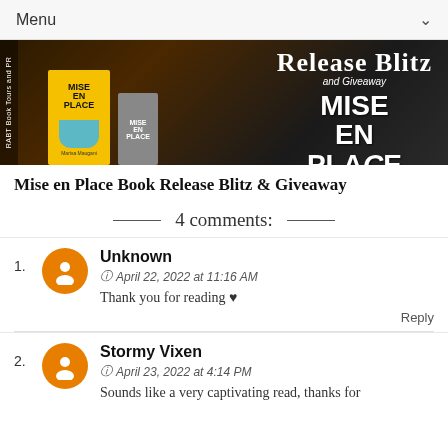Menu
[Figure (photo): Book release blitz and giveaway banner for 'Mise en Place' by Marisa Maugani, showing book covers on tablet and phone against a dark background with a lobster/crab image. Text reads 'Release Blitz and Giveaway' and 'MISE EN PLACE by Marisa Maugani'.]
Mise en Place Book Release Blitz & Giveaway
4 comments:
1. Unknown
April 22, 2022 at 11:16 AM
Thank you for reading ♥
2. Stormy Vixen
April 23, 2022 at 4:14 PM
Sounds like a very captivating read, thanks for